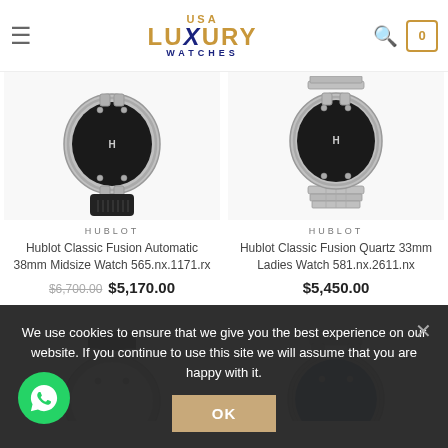USA LUXURY WATCHES
[Figure (photo): Hublot Classic Fusion Automatic 38mm Midsize Watch photo showing lower half of watch with rubber strap and steel case]
HUBLOT
Hublot Classic Fusion Automatic 38mm Midsize Watch 565.nx.1171.rx
$6,700.00  $5,170.00
[Figure (photo): Hublot Classic Fusion Quartz 33mm Ladies Watch photo showing lower half with steel bracelet]
HUBLOT
Hublot Classic Fusion Quartz 33mm Ladies Watch 581.nx.2611.nx
$5,450.00
[Figure (photo): Partial view of a Hublot watch with black strap and steel case]
[Figure (photo): Partial view of a Hublot watch with blue dial and steel bracelet]
We use cookies to ensure that we give you the best experience on our website. If you continue to use this site we will assume that you are happy with it.